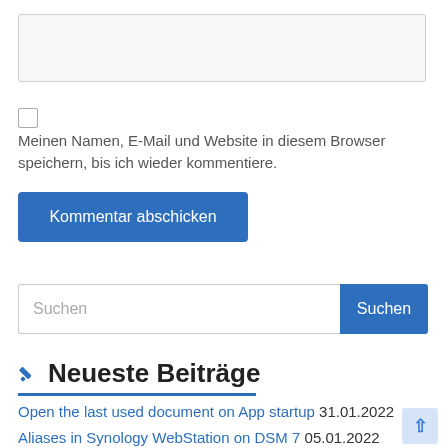[Figure (screenshot): Empty textarea input field with light gray background and border]
[Figure (screenshot): Checkbox (unchecked) for saving name, email, and website in browser]
Meinen Namen, E-Mail und Website in diesem Browser speichern, bis ich wieder kommentiere.
[Figure (screenshot): Blue submit button labeled 'Kommentar abschicken']
[Figure (screenshot): Search input field with placeholder 'Suchen' and blue search button]
✏ Neueste Beiträge
Open the last used document on App startup 31.01.2022
Aliases in Synology WebStation on DSM 7 05.01.2022